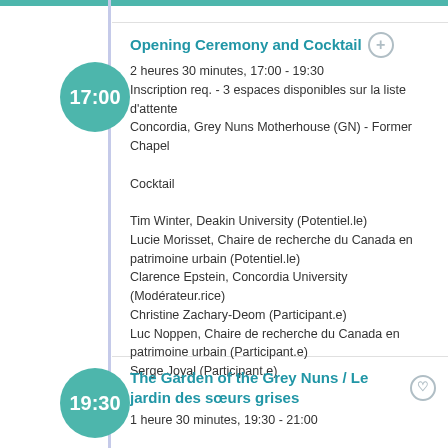Opening Ceremony and Cocktail
2 heures 30 minutes, 17:00 - 19:30
Inscription req. - 3 espaces disponibles sur la liste d'attente
Concordia, Grey Nuns Motherhouse (GN) - Former Chapel
Cocktail
Tim Winter, Deakin University (Potentiel.le)
Lucie Morisset, Chaire de recherche du Canada en patrimoine urbain (Potentiel.le)
Clarence Epstein, Concordia University (Modérateur.rice)
Christine Zachary-Deom (Participant.e)
Luc Noppen, Chaire de recherche du Canada en patrimoine urbain (Participant.e)
Serge Joyal (Participant.e)
The Garden of the Grey Nuns / Le jardin des sœurs grises
1 heure 30 minutes, 19:30 - 21:00